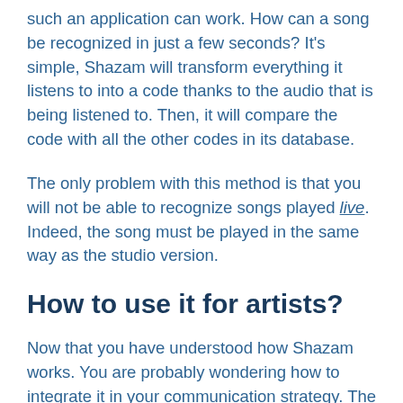such an application can work. How can a song be recognized in just a few seconds? It's simple, Shazam will transform everything it listens to into a code thanks to the audio that is being listened to. Then, it will compare the code with all the other codes in its database.
The only problem with this method is that you will not be able to recognize songs played live. Indeed, the song must be played in the same way as the studio version.
How to use it for artists?
Now that you have understood how Shazam works. You are probably wondering how to integrate it in your communication strategy. The major advantage